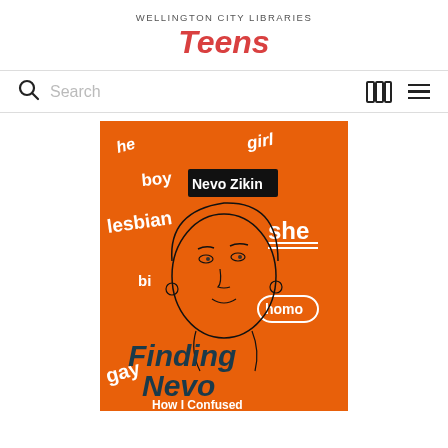WELLINGTON CITY LIBRARIES
Teens
[Figure (screenshot): Navigation bar with search icon, search placeholder text, book shelf icon, and hamburger menu icon]
[Figure (photo): Book cover of 'Finding Nevo: How I Confused' on an orange background with illustrated face and graffiti-style words including he, girl, boy, Nevo Zikin, lesbian, she, bi, homo, gay, Finding Nevo, How I Confused]